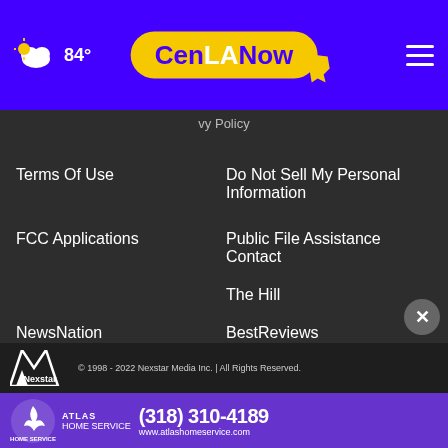84° CenLANow
Terms Of Use
Do Not Sell My Personal Information
FCC Applications
Public File Assistance Contact
The Hill
NewsNation
BestReviews
Content Licensing
Nexstar Digital
© 1998 - 2022 Nexstar Media Inc. | All Rights Reserved.
[Figure (infographic): Atlas Home Service advertisement with phone number (318) 310-4189 and website www.atlashomeservice.com]